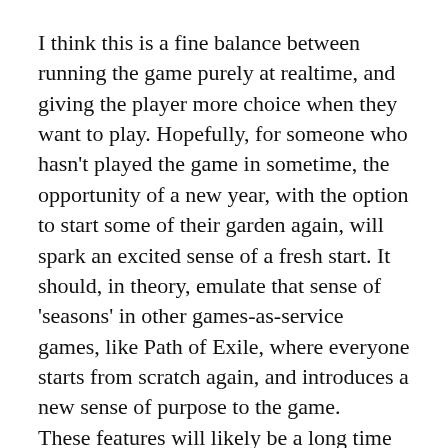I think this is a fine balance between running the game purely at realtime, and giving the player more choice when they want to play. Hopefully, for someone who hasn't played the game in sometime, the opportunity of a new year, with the option to start some of their garden again, will spark an excited sense of a fresh start. It should, in theory, emulate that sense of 'seasons' in other games-as-service games, like Path of Exile, where everyone starts from scratch again, and introduces a new sense of purpose to the game.
These features will likely be a long time in the making, as I turn my focus to getting the core gameplay feeling good and feeling meaningful.
Still, it's important to see the woods from the trees, as it'll help guide the smaller details toward something that feels like it function in tandem with